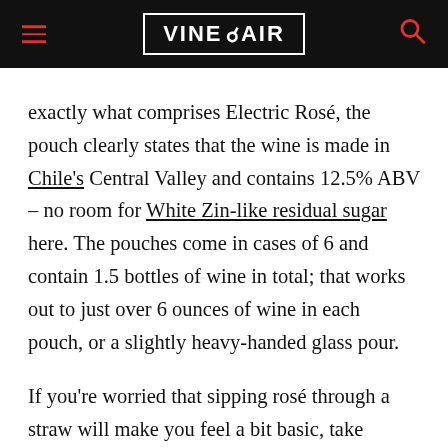VINEPAIR
exactly what comprises Electric Rosé, the pouch clearly states that the wine is made in Chile's Central Valley and contains 12.5% ABV – no room for White Zin-like residual sugar here. The pouches come in cases of 6 and contain 1.5 bottles of wine in total; that works out to just over 6 ounces of wine in each pouch, or a slightly heavy-handed glass pour.
If you're worried that sipping rosé through a straw will make you feel a bit basic, take comfort in the